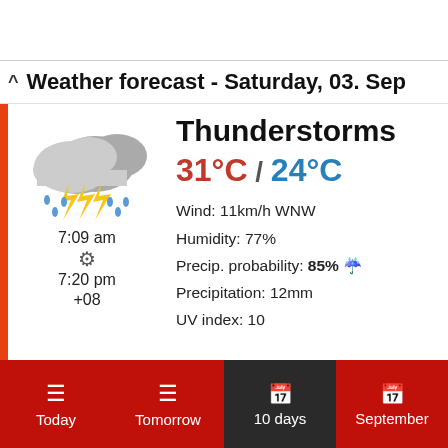Weather forecast - Saturday, 03. Sep
[Figure (illustration): Thunderstorm weather icon with dark clouds, lightning bolts, and rain drops]
Thunderstorms
31°C / 24°C
Wind: 11km/h WNW
Humidity: 77%
Precip. probability: 85% 🌂
Precipitation: 12mm
UV index: 10
7:09 am
7:20 pm
+08
On Saturday, in Ipoh, storms with thunder and
Today | Tomorrow | 10 days | September